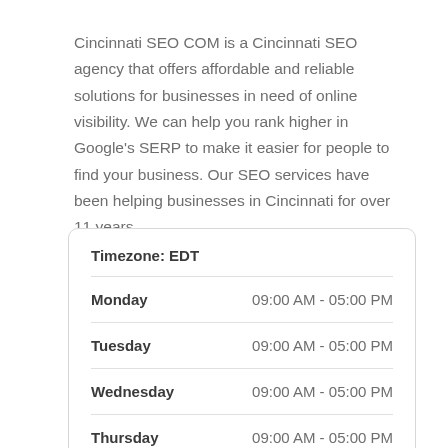Cincinnati SEO COM is a Cincinnati SEO agency that offers affordable and reliable solutions for businesses in need of online visibility. We can help you rank higher in Google's SERP to make it easier for people to find your business. Our SEO services have been helping businesses in Cincinnati for over 11 years.
| Day | Hours |
| --- | --- |
| Timezone: EDT |  |
| Monday | 09:00 AM - 05:00 PM |
| Tuesday | 09:00 AM - 05:00 PM |
| Wednesday | 09:00 AM - 05:00 PM |
| Thursday | 09:00 AM - 05:00 PM |